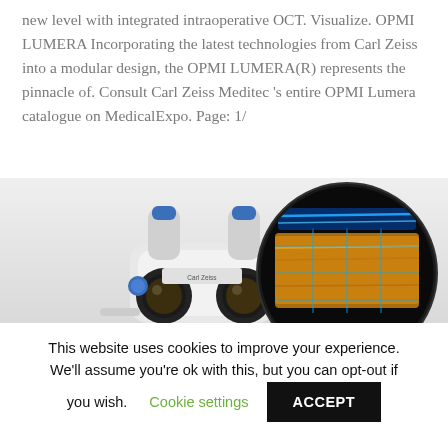new level with integrated intraoperative OCT. Visualize. OPMI LUMERA Incorporating the latest technologies from Carl Zeiss into a modular design, the OPMI LUMERA(R) represents the pinnacle of. Consult Carl Zeiss Meditec 's entire OPMI Lumera catalogue on MedicalExpo. Page: 1/
[Figure (photo): Carl Zeiss OPMI LUMERA surgical microscope with dual eyepieces and blue adjustment knobs, alongside a circular inset showing an OCT scan image of retinal layers on a dark background with orange/golden grid overlay.]
This website uses cookies to improve your experience. We'll assume you're ok with this, but you can opt-out if you wish.
Cookie settings   ACCEPT